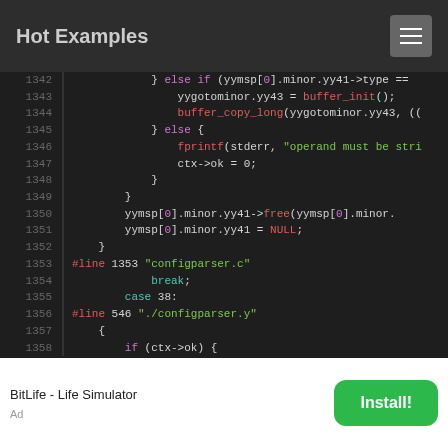Hot Examples
Code listing lines 1342-1358 from configparser.c / configparser.y
[Figure (screenshot): Advertisement banner: BitLife - Life Simulator with Install! button]